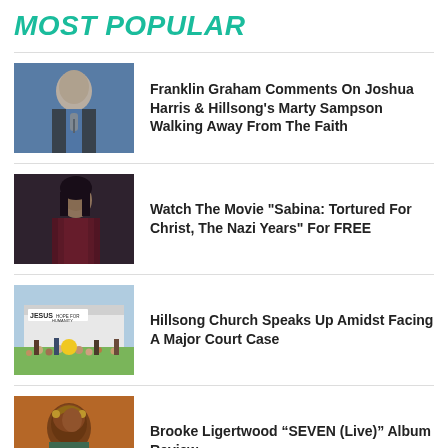MOST POPULAR
Franklin Graham Comments On Joshua Harris & Hillsong's Marty Sampson Walking Away From The Faith
Watch The Movie "Sabina: Tortured For Christ, The Nazi Years" For FREE
Hillsong Church Speaks Up Amidst Facing A Major Court Case
Brooke Ligertwood “SEVEN (Live)” Album Review